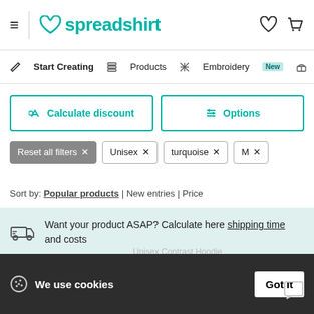spreadshirt
Start Creating | Products | Embroidery New
Calculate discount | Options
Reset all filters × Unisex × turquoise × M ×
Sort by: Popular products | New entries | Price
Want your product ASAP? Calculate here shipping time and costs
Unisex Contrast Hoodie Size: S-2XL & 4 Colors
We use cookies
Click here to see a list of the categories of personal information we collect and what we use them for ("Notice at Collection").
Privacy Policy
Do Not Sell My Personal Information
By using this website, I agree to the Terms and Conditions